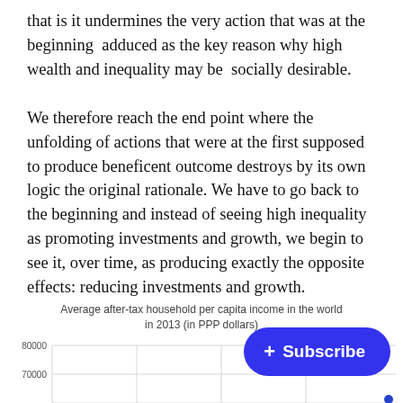that is it undermines the very action that was at the beginning  adduced as the key reason why high wealth and inequality may be  socially desirable.
We therefore reach the end point where the unfolding of actions that were at the first supposed to produce beneficent outcome destroys by its own logic the original rationale. We have to go back to the beginning and instead of seeing high inequality as promoting investments and growth, we begin to see it, over time, as producing exactly the opposite effects: reducing investments and growth.
[Figure (bar-chart): Partially visible bar chart showing average after-tax household per capita income in the world in 2013 (in PPP dollars). Y-axis shows values at 80000 and 70000. Chart is partially obscured by a Subscribe button.]